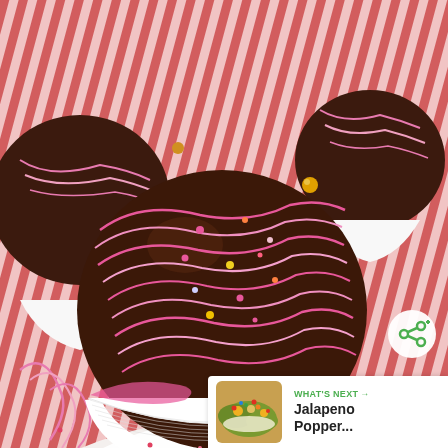[Figure (photo): Close-up photo of chocolate truffles decorated with pink drizzled chocolate and colorful sprinkles, placed in white fluted paper cups on a white surface, with a red striped cloth in the background and a red flower decoration.]
[Figure (infographic): Share button — white circular button with a share icon (green) in the bottom-right area of the image]
[Figure (infographic): What's Next panel at bottom-right: shows a thumbnail image of a dish with colorful toppings, label 'WHAT'S NEXT →' in green, and title 'Jalapeno Popper...' in bold black text]